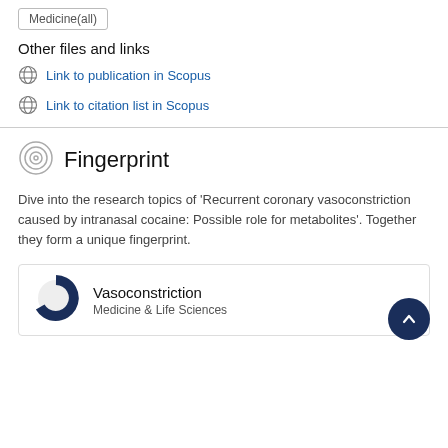Medicine(all)
Other files and links
Link to publication in Scopus
Link to citation list in Scopus
Fingerprint
Dive into the research topics of 'Recurrent coronary vasoconstriction caused by intranasal cocaine: Possible role for metabolites'. Together they form a unique fingerprint.
Vasoconstriction
Medicine & Life Sciences